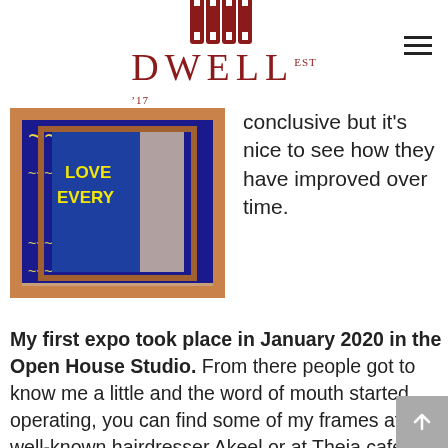DWELL
[Figure (photo): A framed artwork with blue and yellow patterned background with text 'LOVE EVERY' visible on a wooden frame, hanging on a white wall.]
conclusive but it's nice to see how they have improved over time.
My first expo took place in January 2020 in the Open House Studio. From there people got to know me a little and the word of mouth started operating, you can find some of my frames at the well-known hairdresser Akeel or at Theia café, Alidesign and more.